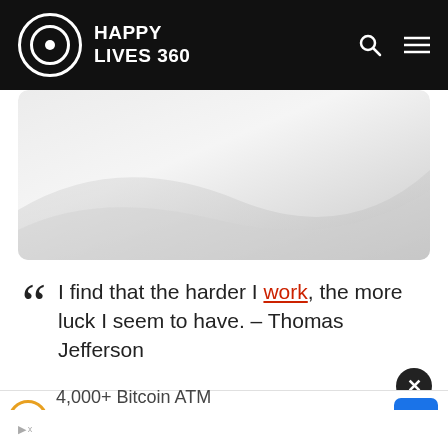HAPPY LIVES 360
[Figure (illustration): Light grey banner image with gradient, rounded corners, partial view of website hero section]
I find that the harder I work, the more luck I seem to have. – Thomas Jefferson
[Figure (infographic): Advertisement banner: 4,000+ Bitcoin ATM Locations Nationwide! Find Yours Today.]